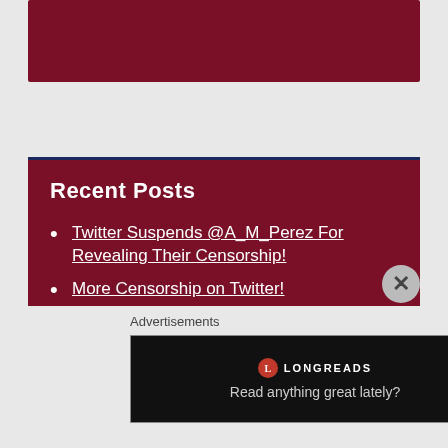[Figure (other): Dark red/maroon banner at the top of the page]
Recent Posts
Twitter Suspends @A_M_Perez For Revealing Their Censorship!
More Censorship on Twitter!
What Should We Do With Illegals? VOTE Here!
Twitter – Unintentional Unfollowing is Rampant!
Flat Out Unconstitutional – Paperback!
Advertisements
[Figure (screenshot): Longreads advertisement banner: red circle logo, LONGREADS text, tagline 'Read anything great lately?']